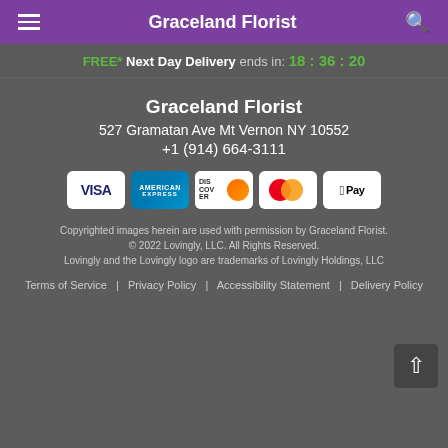Graceland Florist
FREE* Next Day Delivery ends in: 18:36:20
Graceland Florist
527 Gramatan Ave Mt Vernon NY 10552
+1 (914) 664-3111
[Figure (other): Payment method icons: Visa, American Express, Discover, Mastercard, Apple Pay]
Copyrighted images herein are used with permission by Graceland Florist.
© 2022 Lovingly, LLC. All Rights Reserved.
Lovingly and the Lovingly logo are trademarks of Lovingly Holdings, LLC
Terms of Service | Privacy Policy | Accessibility Statement | Delivery Policy